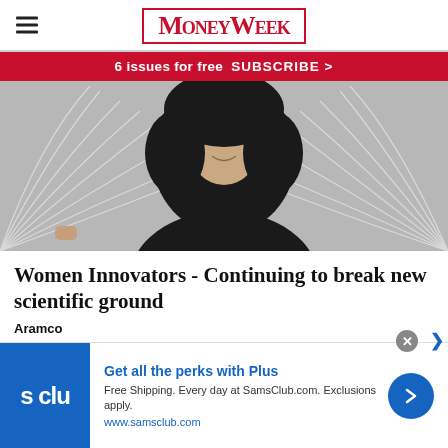MoneyWeek
6 issues for free  SUBSCRIBE >
[Figure (photo): Woman wearing a black hijab and black clothing, photographed from approximately the shoulders up against a gray background with abstract white line patterns.]
Women Innovators - Continuing to break new scientific ground
Aramco
[Figure (infographic): Advertisement for Sam's Club Plus membership. Features Sam's Club logo on blue background, headline 'Get all the perks with Plus', subtext 'Free Shipping. Every day at SamsClub.com. Exclusions apply.', and URL www.samsclub.com. Includes a blue circle with right-pointing arrow chevron.]